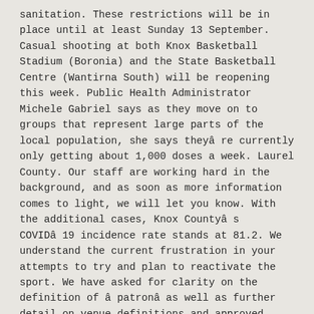sanitation. These restrictions will be in place until at least Sunday 13 September. Casual shooting at both Knox Basketball Stadium (Boronia) and the State Basketball Centre (Wantirna South) will be reopening this week. Public Health Administrator Michele Gabriel says as they move on to groups that represent large parts of the local population, she says theyâ re currently only getting about 1,000 doses a week. Laurel County. Our staff are working hard in the background, and as soon as more information comes to light, we will let you know. With the additional cases, Knox Countyâ s COVIDâ 19 incidence rate stands at 81.2. We understand the current frustration in your attempts to try and plan to reactivate the sport. We have asked for clarity on the definition of â patronâ as well as further detail on venue definitions and approved capacities. There are currently 378 active cases in Knox County. The Knox Central Panthers downed the Harlan County Black Bears in comeback fashion to claim their second straight regional title. After several days of lower overall Covid-19 numbers, Knox Countyâ s numbers spiked to 54 in the latest state Covid case report. Knox Basketball is currently looking into